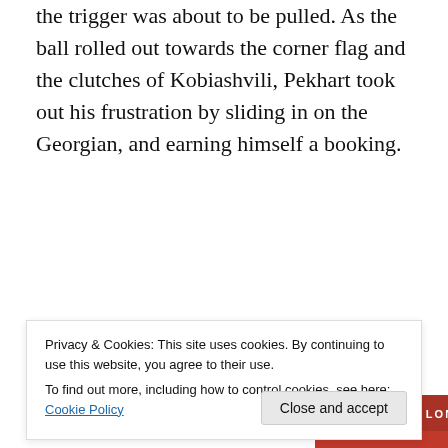the trigger was about to be pulled. As the ball rolled out towards the corner flag and the clutches of Kobiashvili, Pekhart took out his frustration by sliding in on the Georgian, and earning himself a booking.
[Figure (other): Longreads advertisement banner with red background showing logo and slogan 'The best stories on the web – ours, and everyone else's.' with a 'Start reading' button.]
Privacy & Cookies: This site uses cookies. By continuing to use this website, you agree to their use.
To find out more, including how to control cookies, see here: Cookie Policy
As we approached the half-hour mark, the visitors seemed